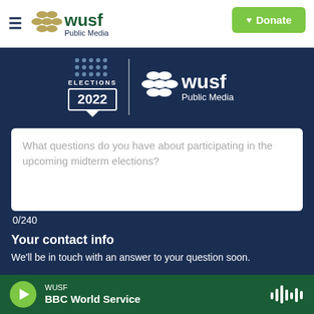WUSF Public Media — Donate
[Figure (logo): WUSF Public Media Elections 2022 banner logo on dark blue background]
What questions do you have about participating in the upcoming midterm elections?
0/240
Your contact info
We'll be in touch with an answer to your question soon.
Name
WUSF — BBC World Service